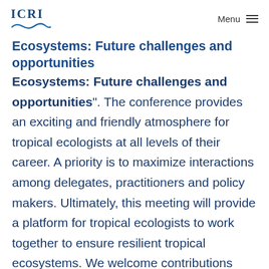ICRI | Menu
Ecosystems: Future challenges and opportunities
". The conference provides an exciting and friendly atmosphere for tropical ecologists at all levels of their career. A priority is to maximize interactions among delegates, practitioners and policy makers. Ultimately, this meeting will provide a platform for tropical ecologists to work together to ensure resilient tropical ecosystems. We welcome contributions from all fields of Tropical Ecology.
Tropical ecosystems are global biodiversity hotspots increasingly under pressure from a growing population. The complexity and